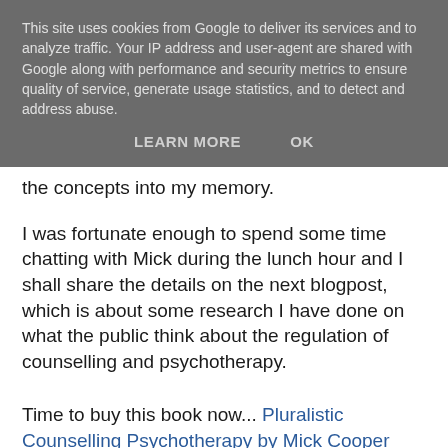This site uses cookies from Google to deliver its services and to analyze traffic. Your IP address and user-agent are shared with Google along with performance and security metrics to ensure quality of service, generate usage statistics, and to detect and address abuse.
LEARN MORE   OK
the concepts into my memory.
I was fortunate enough to spend some time chatting with Mick during the lunch hour and I shall share the details on the next blogpost, which is about some research I have done on what the public think about the regulation of counselling and psychotherapy.
Time to buy this book now... Pluralistic Counselling Psychotherapy by Mick Cooper and John MacLeod